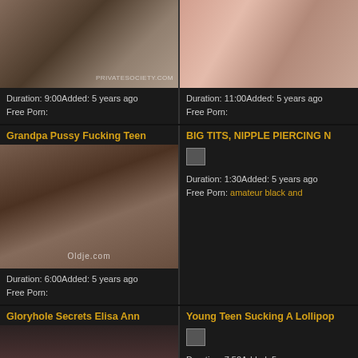[Figure (photo): Top-left video thumbnail showing adult content, dark background]
Duration: 9:00Added: 5 years ago
Free Porn:
[Figure (photo): Top-right video thumbnail showing adult content, pink bedding]
Duration: 11:00Added: 5 years ago
Free Porn:
Grandpa Pussy Fucking Teen
[Figure (photo): Video thumbnail showing older man with young woman, Oldje.com watermark]
Duration: 6:00Added: 5 years ago
Free Porn:
BIG TITS, NIPPLE PIERCING N
[Figure (photo): Small broken image placeholder]
Duration: 1:30Added: 5 years ago
Free Porn: amateur black and
Gloryhole Secrets Elisa Ann
[Figure (photo): Bottom-left partial thumbnail]
Young Teen Sucking A Lollipop
[Figure (photo): Small broken image placeholder]
Duration: 7:50Added: 5 years ago